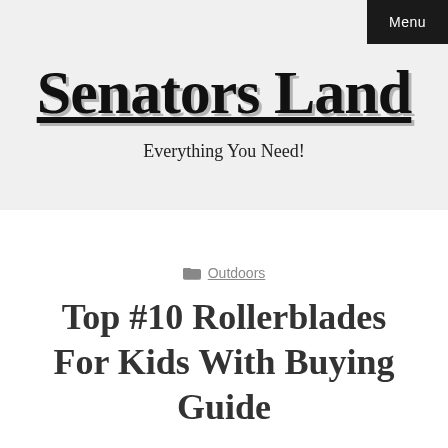Menu
Senators Land
Everything You Need!
Outdoors
Top #10 Rollerblades For Kids With Buying Guide